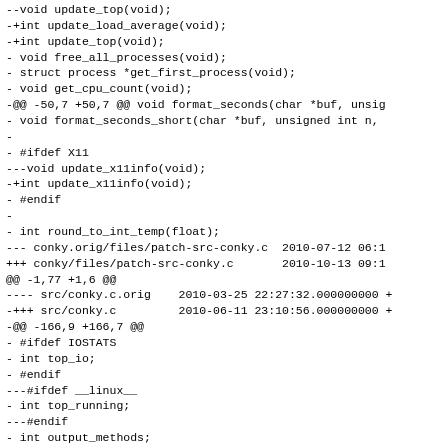--void update_top(void);
-+int update_load_average(void);
-+int update_top(void);
- void free_all_processes(void);
- struct process *get_first_process(void);
- void get_cpu_count(void);
-@@ -50,7 +50,7 @@ void format_seconds(char *buf, unsig
- void format_seconds_short(char *buf, unsigned int n,
-
- #ifdef X11
---void update_x11info(void);
-+int update_x11info(void);
- #endif
-
- int round_to_int_temp(float);
--- conky.orig/files/patch-src-conky.c  2010-07-12 06:1
++  conky/files/patch-src-conky.c       2010-10-13 09:1
@@ -1,77 +1,6 @@
---- src/conky.c.orig   2010-03-25 22:27:32.000000000 +
-+++ src/conky.c        2010-06-11 23:10:56.000000000 +
-@@ -166,9 +166,7 @@
- #ifdef IOSTATS
- int top_io;
- #endif
---#ifdef __linux__
- int top_running;
---#endif
- int output_methods;
- static int extra_newline;
- enum x_initialiser_state x_initialised = NO;